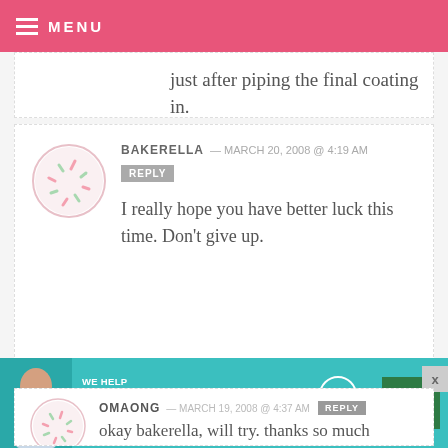MENU
just after piping the final coating in.
BAKERELLA — MARCH 20, 2008 @ 4:19 AM
REPLY
I really hope you have better luck this time. Don't give up.
OMAONG — MARCH 19, 2008 @ 4:37 AM
REPLY
okay bakerella, will try. thanks so much
[Figure (infographic): SHE Partner Network advertisement banner with teal background, text 'We Help Content Creators Grow Businesses Through...', SHE logo, and green Learn More button]